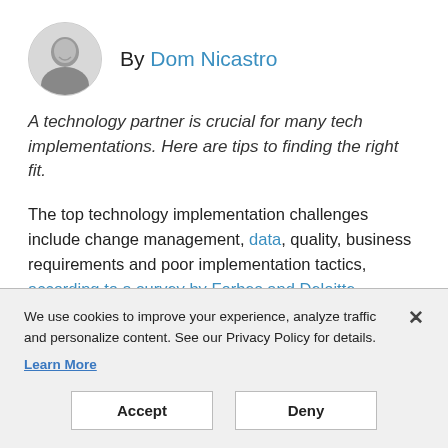By Dom Nicastro
A technology partner is crucial for many tech implementations. Here are tips to finding the right fit.
The top technology implementation challenges include change management, data, quality, business requirements and poor implementation tactics, according to a survey by Forbes and Deloitte. Choosing the right technology partner is critical when you consider
We use cookies to improve your experience, analyze traffic and personalize content. See our Privacy Policy for details. Learn More
Accept
Deny